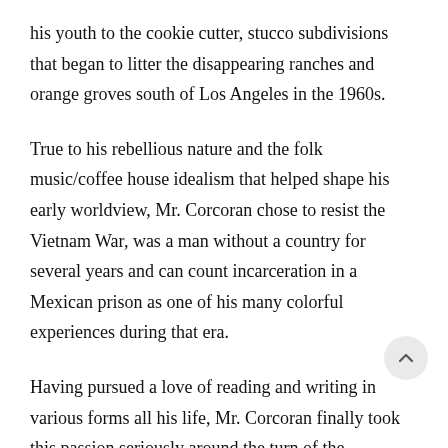his youth to the cookie cutter, stucco subdivisions that began to litter the disappearing ranches and orange groves south of Los Angeles in the 1960s.
True to his rebellious nature and the folk music/coffee house idealism that helped shape his early worldview, Mr. Corcoran chose to resist the Vietnam War, was a man without a country for several years and can count incarceration in a Mexican prison as one of his many colorful experiences during that era.
Having pursued a love of reading and writing in various forms all his life, Mr. Corcoran finally took this passion seriously around the turn of the millennium and has dedicated the remainder of his days to authorship.